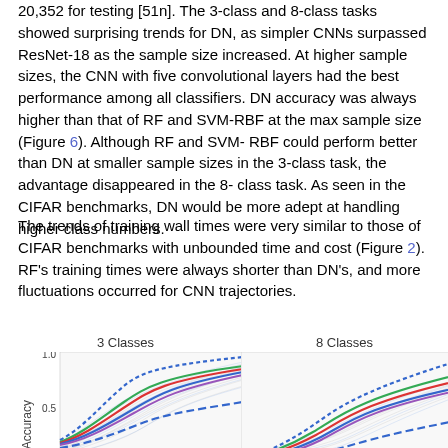20,352 for testing [51n]. The 3-class and 8-class tasks showed surprising trends for DN, as simpler CNNs surpassed ResNet-18 as the sample size increased. At higher sample sizes, the CNN with five convolutional layers had the best performance among all classifiers. DN accuracy was always higher than that of RF and SVM-RBF at the max sample size (Figure 6). Although RF and SVM-RBF could perform better than DN at smaller sample sizes in the 3-class task, the advantage disappeared in the 8-class task. As seen in the CIFAR benchmarks, DN would be more adept at handling higher class numbers.
The trends of training wall times were very similar to those of CIFAR benchmarks with unbounded time and cost (Figure 2). RF's training times were always shorter than DN's, and more fluctuations occurred for CNN trajectories.
[Figure (continuous-plot): Line chart showing accuracy vs sample size for 3-class task. Multiple colored lines (blue dotted, green, red, blue solid, blue dashed, purple, and light gray background trajectories) rising from ~0.35 to ~0.85-0.95 as sample size increases.]
[Figure (continuous-plot): Line chart showing accuracy vs sample size for 8-class task. Multiple colored lines (blue dotted, green, red, blue solid, blue dashed, purple, and light gray background trajectories) rising as sample size increases, partially cut off.]